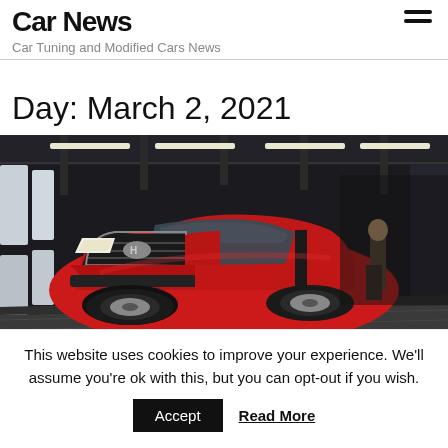Car News
Car Tuning and Modified Cars News
Day: March 2, 2021
[Figure (photo): Red Hyundai Tucson SUV on an automobile assembly/inspection line inside a factory, with bright overhead lights and a worker standing beside the vehicle on the right.]
This website uses cookies to improve your experience. We'll assume you're ok with this, but you can opt-out if you wish.
Accept    Read More